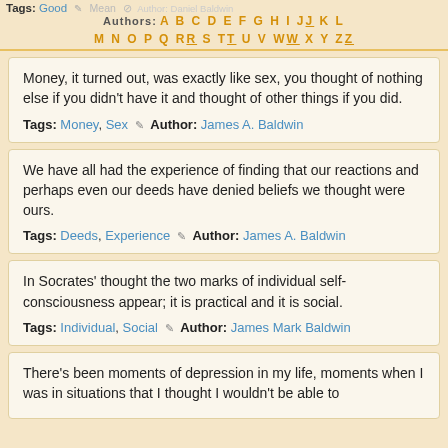Tags: Good   Mean   Authors: A B C D E F G H I J K L M N O P Q R S T U V W X Y Z
Money, it turned out, was exactly like sex, you thought of nothing else if you didn't have it and thought of other things if you did.
Tags: Money, Sex  ✎  Author: James A. Baldwin
We have all had the experience of finding that our reactions and perhaps even our deeds have denied beliefs we thought were ours.
Tags: Deeds, Experience  ✎  Author: James A. Baldwin
In Socrates' thought the two marks of individual self-consciousness appear; it is practical and it is social.
Tags: Individual, Social  ✎  Author: James Mark Baldwin
There's been moments of depression in my life, moments when I was in situations that I thought I wouldn't be able to